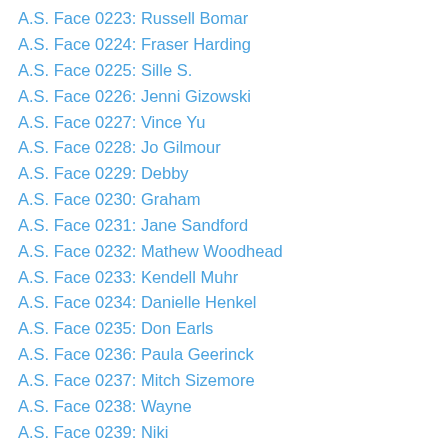A.S. Face 0223: Russell Bomar
A.S. Face 0224: Fraser Harding
A.S. Face 0225: Sille S.
A.S. Face 0226: Jenni Gizowski
A.S. Face 0227: Vince Yu
A.S. Face 0228: Jo Gilmour
A.S. Face 0229: Debby
A.S. Face 0230: Graham
A.S. Face 0231: Jane Sandford
A.S. Face 0232: Mathew Woodhead
A.S. Face 0233: Kendell Muhr
A.S. Face 0234: Danielle Henkel
A.S. Face 0235: Don Earls
A.S. Face 0236: Paula Geerinck
A.S. Face 0237: Mitch Sizemore
A.S. Face 0238: Wayne
A.S. Face 0239: Niki
A.S. Face 0240: Joy
A.S. Face 0241: Rob
A.S. Face 0242: S.